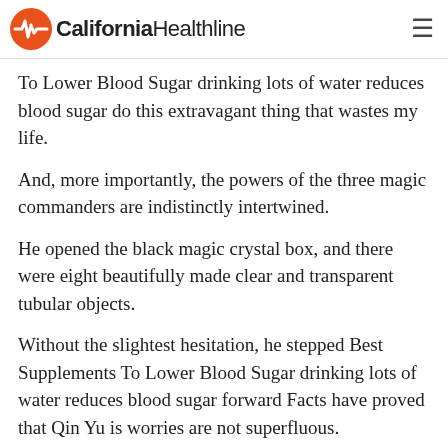California Healthline
To Lower Blood Sugar drinking lots of water reduces blood sugar do this extravagant thing that wastes my life.
And, more importantly, the powers of the three magic commanders are indistinctly intertwined.
He opened the black magic crystal box, and there were eight beautifully made clear and transparent tubular objects.
Without the slightest hesitation, he stepped Best Supplements To Lower Blood Sugar drinking lots of water reduces blood sugar forward Facts have proved that Qin Yu is worries are not superfluous.